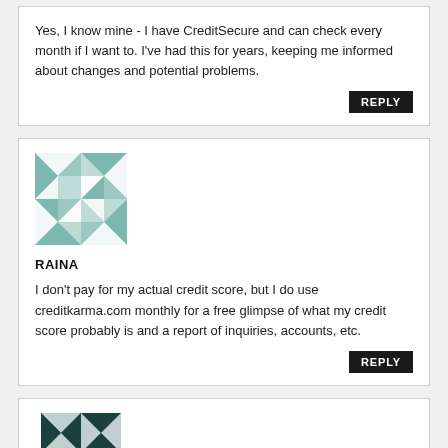Yes, I know mine - I have CreditSecure and can check every month if I want to. I've had this for years, keeping me informed about changes and potential problems.
REPLY
[Figure (illustration): Geometric avatar pattern in muted teal/mint colors for user RAINA]
RAINA
I don't pay for my actual credit score, but I do use creditkarma.com monthly for a free glimpse of what my credit score probably is and a report of inquiries, accounts, etc.
REPLY
[Figure (illustration): Geometric avatar pattern in dark teal colors for a third user]